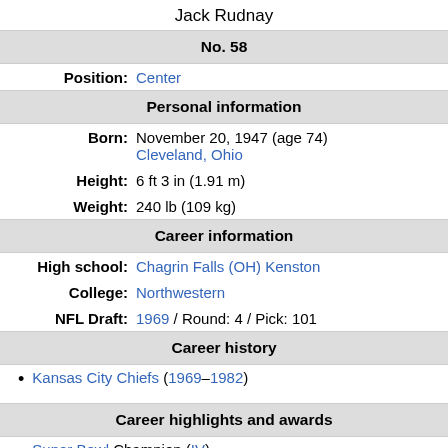Jack Rudnay
No. 58
Position: Center
Personal information
Born: November 20, 1947 (age 74) Cleveland, Ohio
Height: 6 ft 3 in (1.91 m)
Weight: 240 lb (109 kg)
Career information
High school: Chagrin Falls (OH) Kenston
College: Northwestern
NFL Draft: 1969 / Round: 4 / Pick: 101
Career history
Kansas City Chiefs (1969–1982)
Career highlights and awards
Super Bowl Champion (IV)
AFL Champion (1969)
4× All-Pro (1973, 1975, 1979)